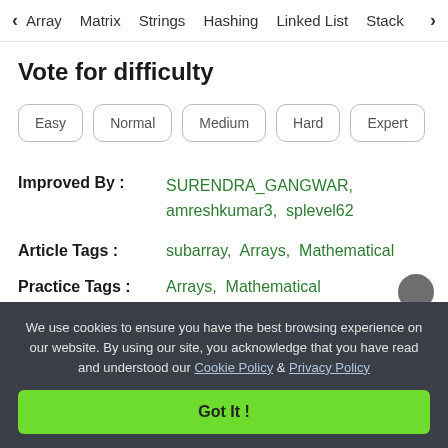< Array   Matrix   Strings   Hashing   Linked List   Stack >
Vote for difficulty
Easy
Normal
Medium
Hard
Expert
Improved By : SURENDRA_GANGWAR, amreshkumar3, splevel62
Article Tags : subarray, Arrays, Mathematical
Practice Tags : Arrays, Mathematical
We use cookies to ensure you have the best browsing experience on our website. By using our site, you acknowledge that you have read and understood our Cookie Policy & Privacy Policy
Got It !